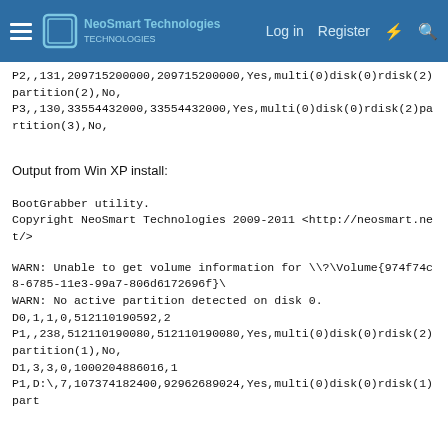NeoSmart Technologies — Log in   Register
P2,,131,209715200000,209715200000,Yes,multi(0)disk(0)rdisk(2)partition(2),No,
P3,,130,33554432000,33554432000,Yes,multi(0)disk(0)rdisk(2)partition(3),No,
Output from Win XP install:
BootGrabber utility.
Copyright NeoSmart Technologies 2009-2011 <http://neosmart.net/>
WARN: Unable to get volume information for \?\Volume{974f74c8-6785-11e3-99a7-806d6172696f}\
WARN: No active partition detected on disk 0.
D0,1,1,0,512110190592,2
P1,,238,512110190080,512110190080,Yes,multi(0)disk(0)rdisk(2)partition(1),No,
D1,3,3,0,1000204886016,1
P1,D:\,7,107374182400,92962689024,Yes,multi(0)disk(0)rdisk(1)part